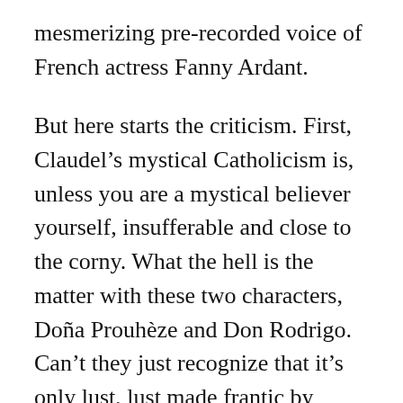mesmerizing pre-recorded voice of French actress Fanny Ardant.
But here starts the criticism. First, Claudel's mystical Catholicism is, unless you are a mystical believer yourself, insufferable and close to the corny. What the hell is the matter with these two characters, Doña Prouhèze and Don Rodrigo. Can't they just recognize that it's only lust, lust made frantic by religious interdiction and social convention (she's already married)? Do they really need to couch it in so much incomprehensible Catholic mysticism (I guess they do…). But hey, guys, satisfy yourselves with the thought that, had you mated, it probably wouldn't have worked